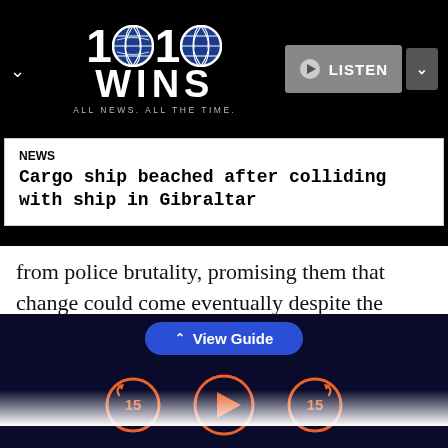[Figure (logo): 1010 WINS radio logo — white bold text '1010 WINS' with two globe icons between the digits, tagline 'ALL NEWS. ALL THE TIME.' on black background header bar with LISTEN button]
NEWS
Cargo ship beached after colliding with ship in Gibraltar
from police brutality, promising them that change could come eventually despite the partisan divides on Capitol Hill.
“I know progress can be slow and frustrating,” Biden said. “Today we’re acting. We’re showing
View Guide
[Figure (screenshot): Audio player bottom controls: rewind 15 seconds button (orange circle with 15 and back arrow), play button (orange circle with triangle), forward 15 seconds button (orange circle with 15 and forward arrow), all on dark navy background]